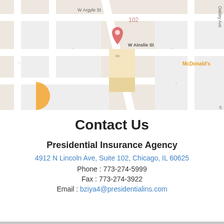[Figure (map): Google Maps view showing 4912 N Lincoln Ave, Suite 102, Chicago, IL 60625. Map shows nearby landmarks including McDonald's, Chicago Soccer, Walgreens, and United States Postal Service (Temporarily closed). Streets visible include W Argyle St, W Ainslie St, and Oakley Ave.]
Contact Us
Presidential Insurance Agency
4912 N Lincoln Ave, Suite 102, Chicago, IL 60625
Phone : 773-274-5999
Fax : 773-274-3922
Email : bziya4@presidentialins.com